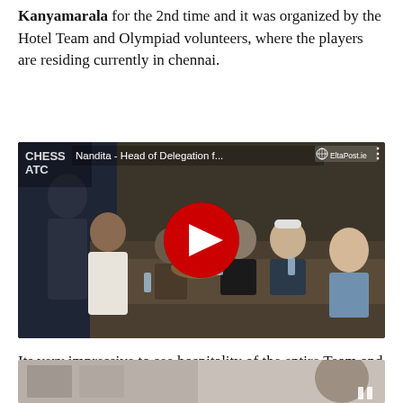Kanyamarala for the 2nd time and it was organized by the Hotel Team and Olympiad volunteers, where the players are residing currently in chennai.
[Figure (screenshot): YouTube video embed showing people seated around a dining table being served food. Title reads 'Nandita - Head of Delegation f...' with Chess ATC logo in top-left and EltaPost.ie badge in top-right. Red YouTube play button in center.]
Its very impressive to see hospitality of the entire Team and Organizers.
[Figure (photo): Partial photo showing people in what appears to be a room with framed pictures on the wall. A pause icon is visible in the bottom-right corner.]